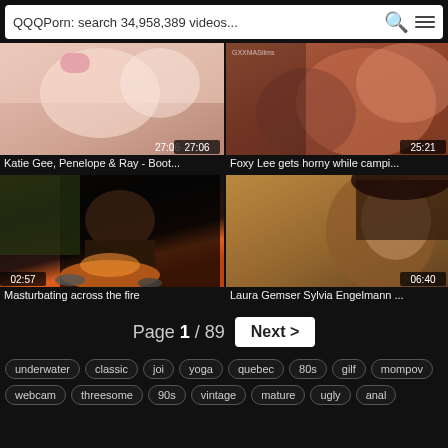QQQPorn: search 34,958,389 videos...
[Figure (screenshot): Video thumbnail 1: Katie Gee, Penelope & Ray - Boot... Duration 27:06]
Katie Gee, Penelope & Ray - Boot...
[Figure (screenshot): Video thumbnail 2: Foxy Lee gets horny while campi... Duration 25:21]
Foxy Lee gets horny while campi...
[Figure (screenshot): Video thumbnail 3: Masturbating across the fire. Duration 02:57]
Masturbating across the fire
[Figure (screenshot): Video thumbnail 4: Laura Gemser Sylvia Engelmann ... Duration 06:40]
Laura Gemser Sylvia Engelmann ...
Page 1 / 89  Next >
underwater  classic  joi  yoga  quebec  80s  gilf  mompov
webcam  threesome  90s  vintage  mature  ugly  anal